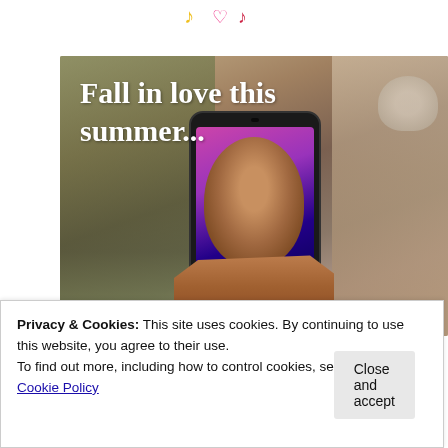[Figure (photo): Promotional image showing a smartphone being held by a hand, displaying a man's face on the screen with colorful pink/purple background. Text overlay reads 'Fall in love this summer...' in white bold serif font. Small word 'Summer' in pink italic appears at bottom of phone screen. Background shows blurred indoor setting.]
Privacy & Cookies: This site uses cookies. By continuing to use this website, you agree to their use.
To find out more, including how to control cookies, see here:
Cookie Policy
Close and accept